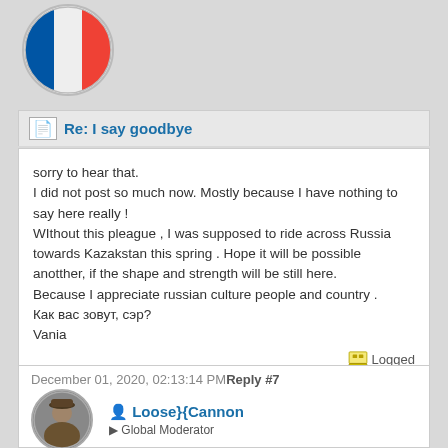[Figure (photo): Round avatar with French flag (blue, white, red tricolor)]
Re: I say goodbye
sorry to hear that.
I did not post so much now. Mostly because I have nothing to say here really !
WIthout this pleague , I was supposed to ride across Russia towards Kazakstan this spring . Hope it will be possible anotther, if the shape and strength will be still here.
Because I appreciate russian culture people and country .
Как вас зовут, сэр?
Vania
Logged
le luxe c'est l'eau chaude ( former swiss colonel)
( luxury is hot water)
December 01, 2020, 02:13:14 PM Reply #7
[Figure (photo): Round avatar photo of a man wearing a hat]
Loose}{Cannon
Global Moderator